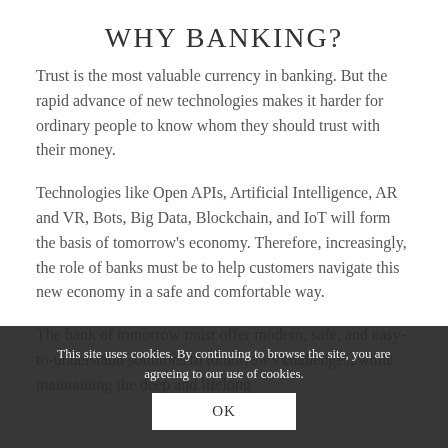WHY BANKING?
Trust is the most valuable currency in banking. But the rapid advance of new technologies makes it harder for ordinary people to know whom they should trust with their money.
Technologies like Open APIs, Artificial Intelligence, AR and VR, Bots, Big Data, Blockchain, and IoT will form the basis of tomorrow's economy. Therefore, increasingly, the role of banks must be to help customers navigate this new economy in a safe and comfortable way.
The bank of tomorrow must offer modern, safe, and easy-to-understand solutions to tomorrow's challenges, while maintaining the deep and lifelong
This site uses cookies. By continuing to browse the site, you are agreeing to our use of cookies.